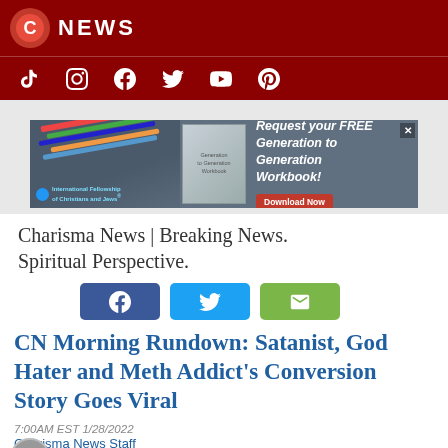NEWS
[Figure (screenshot): Social media icons row: TikTok, Instagram, Facebook, Twitter, YouTube, Pinterest on dark red background]
[Figure (infographic): Advertisement banner: International Fellowship of Christians and Jews. Request your FREE Generation to Generation Workbook! Download Now]
Charisma News | Breaking News. Spiritual Perspective.
[Figure (infographic): Social share buttons: Facebook (blue), Twitter (light blue), Email (green)]
CN Morning Rundown: Satanist, God Hater and Meth Addict's Conversion Story Goes Viral
7:00AM EST 1/28/2022
Charisma News Staff